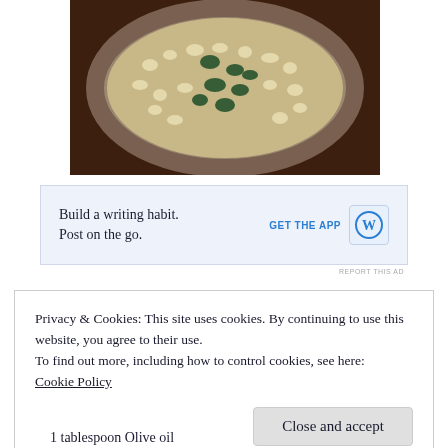[Figure (photo): A round metal bowl filled with popcorn and dark green kale chips, sitting on a dark wooden table surface]
[Figure (infographic): WordPress app advertisement banner: 'Build a writing habit. Post on the go.' with GET THE APP button and WordPress logo icon on light blue background]
REPORT THIS AD
Privacy & Cookies: This site uses cookies. By continuing to use this website, you agree to their use.
To find out more, including how to control cookies, see here:
Cookie Policy
Close and accept
1 tablespoon Olive oil